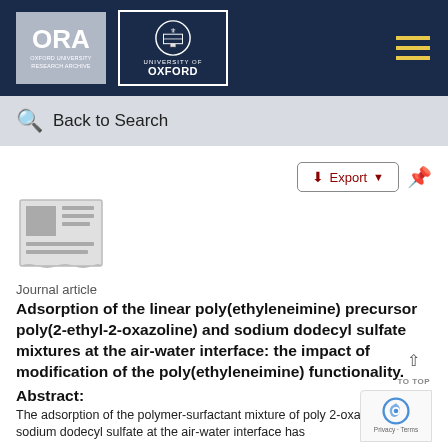[Figure (logo): Oxford University Research Archive (ORA) and University of Oxford logos on dark navy header bar with hamburger menu icon]
Back to Search
Export
[Figure (illustration): Journal article icon — grey document with text lines]
Journal article
Adsorption of the linear poly(ethyleneimine) precursor poly(2-ethyl-2-oxazoline) and sodium dodecyl sulfate mixtures at the air-water interface: the impact of modification of the poly(ethyleneimine) functionality.
Abstract:
The adsorption of the polymer-surfactant mixture of poly 2-oxazoline)-sodium dodecyl sulfate at the air-water interface has